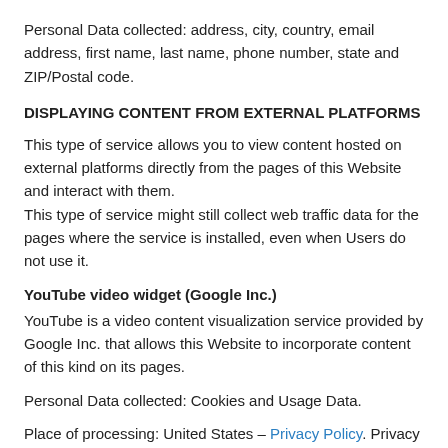Personal Data collected: address, city, country, email address, first name, last name, phone number, state and ZIP/Postal code.
DISPLAYING CONTENT FROM EXTERNAL PLATFORMS
This type of service allows you to view content hosted on external platforms directly from the pages of this Website and interact with them.
This type of service might still collect web traffic data for the pages where the service is installed, even when Users do not use it.
YouTube video widget (Google Inc.)
YouTube is a video content visualization service provided by Google Inc. that allows this Website to incorporate content of this kind on its pages.
Personal Data collected: Cookies and Usage Data.
Place of processing: United States – Privacy Policy. Privacy